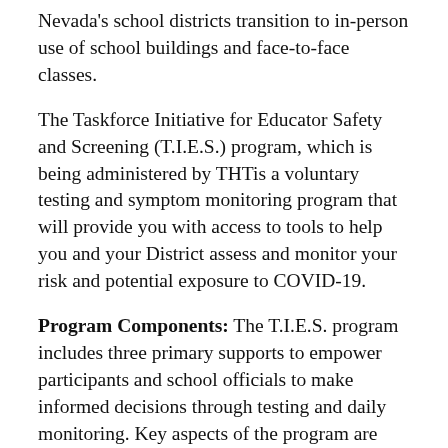Nevada's school districts transition to in-person use of school buildings and face-to-face classes.
The Taskforce Initiative for Educator Safety and Screening (T.I.E.S.) program, which is being administered by THTis a voluntary testing and symptom monitoring program that will provide you with access to tools to help you and your District assess and monitor your risk and potential exposure to COVID-19.
Program Components: The T.I.E.S. program includes three primary supports to empower participants and school officials to make informed decisions through testing and daily monitoring. Key aspects of the program are outlined below. By participating in this